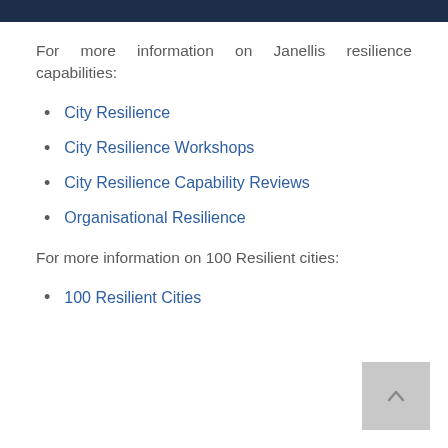[Figure (other): Dark navy header bar at top of page]
For more information on Janellis resilience capabilities:
City Resilience
City Resilience Workshops
City Resilience Capability Reviews
Organisational Resilience
For more information on 100 Resilient cities:
100 Resilient Cities